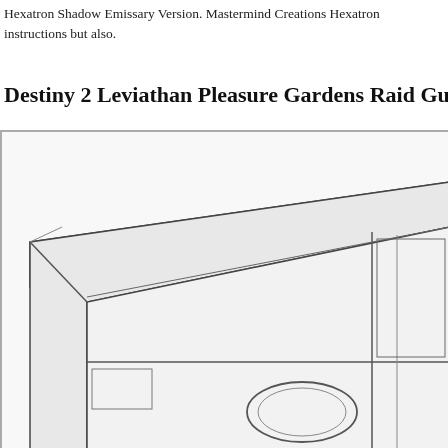Hexatron Shadow Emissary Version. Mastermind Creations Hexatron instructions but also.
Destiny 2 Leviathan Pleasure Gardens Raid Guide Rea
[Figure (illustration): Technical line drawing / isometric schematic of a rectangular cabinet or enclosure shown in three-quarter perspective, with a flat top panel, front face featuring a circular element (dial or porthole) in the lower right, and a vertical divider panel on the right side.]